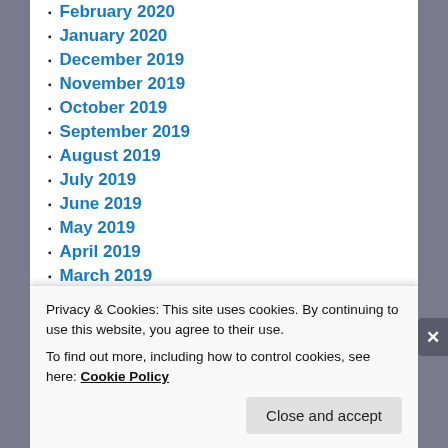February 2020
January 2020
December 2019
November 2019
October 2019
September 2019
August 2019
July 2019
June 2019
May 2019
April 2019
March 2019
February 2019
January 2019
December 2018
Privacy & Cookies: This site uses cookies. By continuing to use this website, you agree to their use.
To find out more, including how to control cookies, see here: Cookie Policy